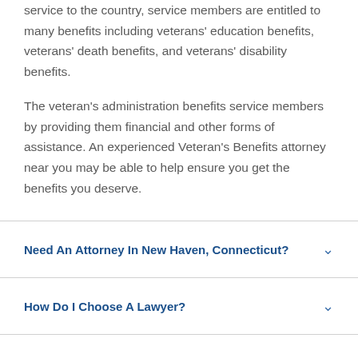service to the country, service members are entitled to many benefits including veterans' education benefits, veterans' death benefits, and veterans' disability benefits.
The veteran's administration benefits service members by providing them financial and other forms of assistance. An experienced Veteran's Benefits attorney near you may be able to help ensure you get the benefits you deserve.
Need An Attorney In New Haven, Connecticut?
How Do I Choose A Lawyer?